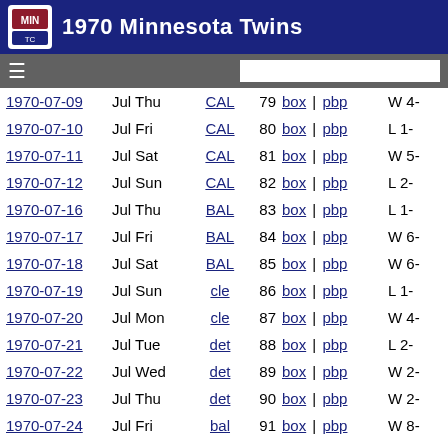1970 Minnesota Twins
| Date | Month Day | Opponent | Gm# | Links | Result |
| --- | --- | --- | --- | --- | --- |
| 1970-07-09 | Jul Thu | CAL | 79 | box | pbp | W 4- |
| 1970-07-10 | Jul Fri | CAL | 80 | box | pbp | L 1- |
| 1970-07-11 | Jul Sat | CAL | 81 | box | pbp | W 5- |
| 1970-07-12 | Jul Sun | CAL | 82 | box | pbp | L 2- |
| 1970-07-16 | Jul Thu | BAL | 83 | box | pbp | L 1- |
| 1970-07-17 | Jul Fri | BAL | 84 | box | pbp | W 6- |
| 1970-07-18 | Jul Sat | BAL | 85 | box | pbp | W 6- |
| 1970-07-19 | Jul Sun | cle | 86 | box | pbp | L 1- |
| 1970-07-20 | Jul Mon | cle | 87 | box | pbp | W 4- |
| 1970-07-21 | Jul Tue | det | 88 | box | pbp | L 2- |
| 1970-07-22 | Jul Wed | det | 89 | box | pbp | W 2- |
| 1970-07-23 | Jul Thu | det | 90 | box | pbp | W 2- |
| 1970-07-24 | Jul Fri | bal | 91 | box | pbp | W 8- |